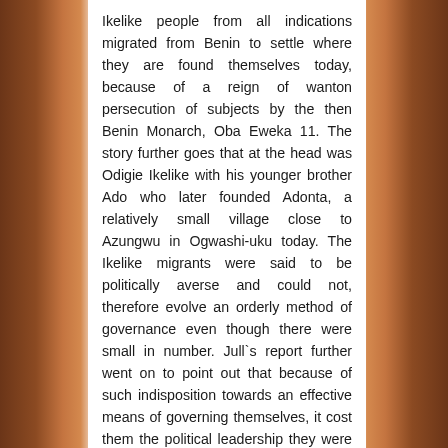Ikelike people from all indications migrated from Benin to settle where they are found themselves today, because of a reign of wanton persecution of subjects by the then Benin Monarch, Oba Eweka 11. The story further goes that at the head was Odigie Ikelike with his younger brother Ado who later founded Adonta, a relatively small village close to Azungwu in Ogwashi-uku today. The Ikelike migrants were said to be politically averse and could not, therefore evolve an orderly method of governance even though there were small in number. Jull`s report further went on to point out that because of such indisposition towards an effective means of governing themselves, it cost them the political leadership they were first to settle in. Rather, Adaigbo, the prince from Nri later came, controlled the situation and imposed leadership based on Igbo customs and tradition on them and what later